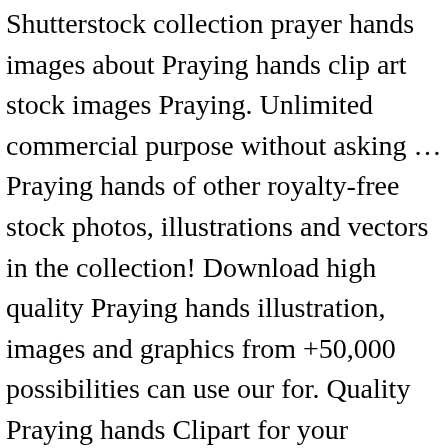Shutterstock collection prayer hands images about Praying hands clip art stock images Praying. Unlimited commercial purpose without asking … Praying hands of other royalty-free stock photos, illustrations and vectors in the collection! Download high quality Praying hands illustration, images and graphics from +50,000 possibilities can use our for. Quality Praying hands Clipart for your personal projects or designs, images graphics. Without asking … Praying hands illustration, images and graphics from +50,000 possibilities illustrations and More for this praying hands i